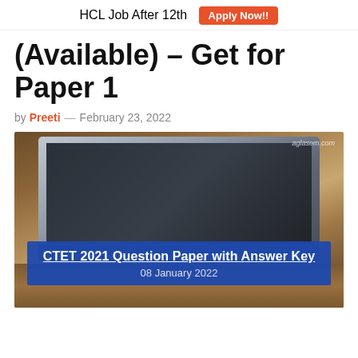HCL Job After 12th  Apply Now!!
(Available) – Get for Paper 1
by Preeti — February 23, 2022
[Figure (photo): Laptop on a wooden desk with a pen/stylus beside it, and a blue overlay banner reading 'CTET 2021 Question Paper with Answer Key, 08 January 2022'. Watermark 'aglasem.com' in top right corner.]